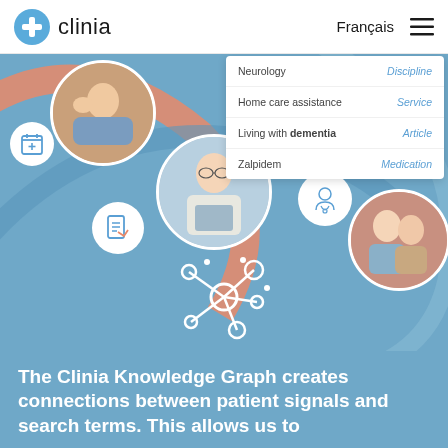clinia | Français
[Figure (screenshot): Clinia website screenshot showing header with logo, Français language toggle, hamburger menu, a blue hero section with circular photos of patients and healthcare workers connected by arcs, a dropdown search results panel showing Neurology/Discipline, Home care assistance/Service, Living with dementia/Article, Zalpidem/Medication, a network graph icon, and bold white text reading 'The Clinia Knowledge Graph creates connections between patient signals and search terms. This allows us to']
The Clinia Knowledge Graph creates connections between patient signals and search terms. This allows us to